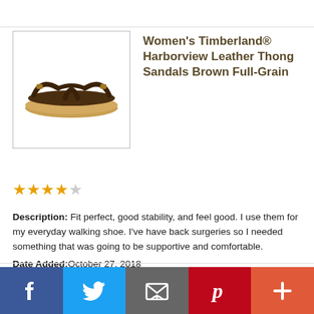[Figure (photo): Brown leather Timberland thong sandal with tan sole, angled view]
Women's Timberland® Harborview Leather Thong Sandals Brown Full-Grain
[Figure (other): 4 out of 5 stars rating]
Description: Fit perfect, good stability, and feel good. I use them for my everyday walking shoe. I've have back surgeries so I needed something that was going to be supportive and comfortable.
Date Added:October 27, 2018
By Lost Traditions
Social share bar: Facebook, Twitter, Email, Pinterest, More